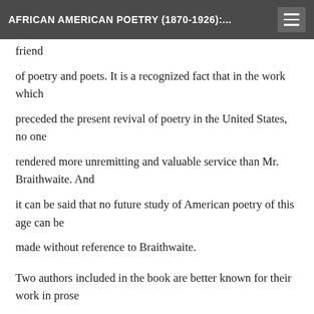AFRICAN AMERICAN POETRY (1870-1926):...
friend of poetry and poets. It is a recognized fact that in the work which preceded the present revival of poetry in the United States, no one rendered more unremitting and valuable service than Mr. Braithwaite. And it can be said that no future study of American poetry of this age can be made without reference to Braithwaite.
Two authors included in the book are better known for their work in prose than in poetry: W.E.B. Du Bois whose well-known prose at its best is, however, impassioned and rhythmical; and Benjamin Brawley who is the